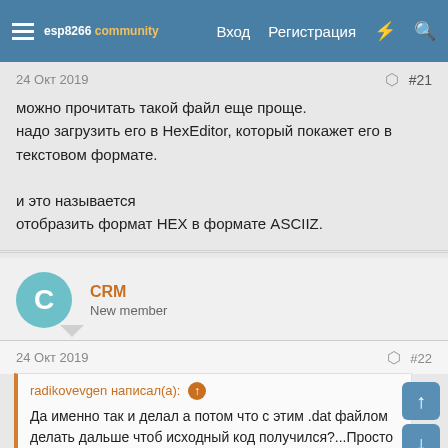esp8266 community — Вход  Регистрация
24 Окт 2019  #21
можно прочитать такой файл еще проще.
надо загрузить его в HexEditor, который покажет его в текстовом формате.
и это называется
отобразить формат HEX в формате ASCIIZ.
CRM
New member
24 Окт 2019  #22
radikovevgen написал(а):
Да именно так и делал а потом что с этим .dat файлом делать дальше чтоб исходный код получился?...Просто есть несколько файлов проекта в такой форме..в каком то из них шаблон веб страницы сервера....хочу изменить кое что.. подправить.. и обратно запаковать.. мне понравился